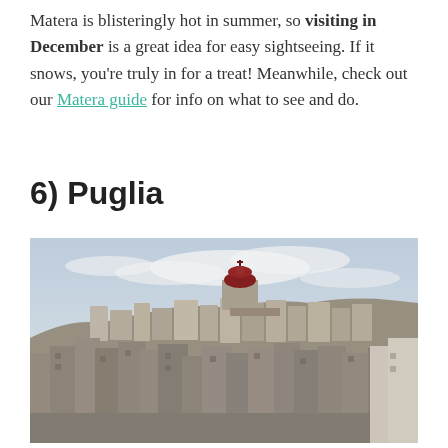Matera is blisteringly hot in summer, so visiting in December is a great idea for easy sightseeing. If it snows, you're truly in for a treat! Meanwhile, check out our Matera guide for info on what to see and do.
6) Puglia
[Figure (photo): Panoramic view of an ancient hilltop town with densely packed stone buildings, white and grey facades, and a red-domed church prominent in the background under a pale cloudy sky.]